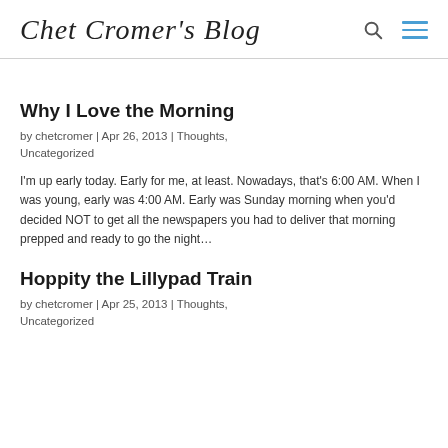Chet Cromer's Blog
Why I Love the Morning
by chetcromer | Apr 26, 2013 | Thoughts, Uncategorized
I'm up early today. Early for me, at least. Nowadays, that's 6:00 AM. When I was young, early was 4:00 AM. Early was Sunday morning when you'd decided NOT to get all the newspapers you had to deliver that morning prepped and ready to go the night…
Hoppity the Lillypad Train
by chetcromer | Apr 25, 2013 | Thoughts, Uncategorized